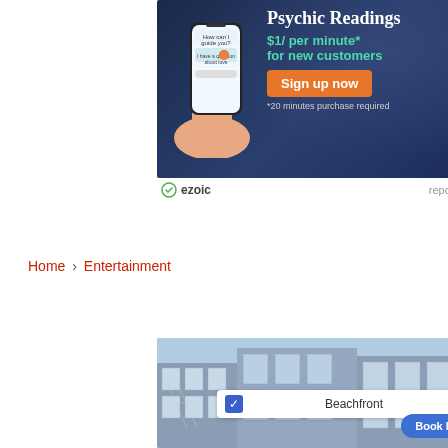[Figure (infographic): Advertisement banner for Psychic Readings service. Dark blue background with phone illustration on left. Text: 'Psychic Readings', '$1/ per minute* for new customers', 'Sign up now' button in orange, '*20 minutes purchase required' fine print.]
ezoic  report this ad
Home › Entertainment
[Figure (infographic): Advertisement banner for VRBO vacation rental. Shows beach house buildings with blue sky. Has a search bar with blue checkbox and 'Beachfront' text. 'Book Now' button in blue at bottom right.]